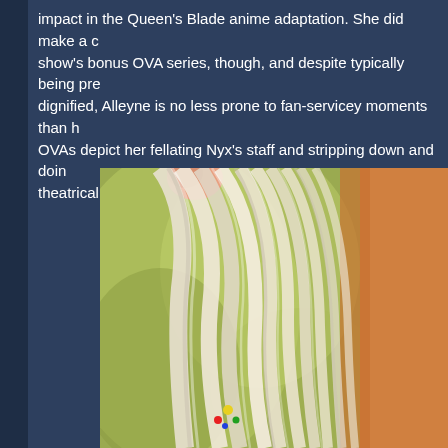impact in the Queen's Blade anime adaptation. She did make a couple of appearances in the show's bonus OVA series, though, and despite typically being presented as composed and dignified, Alleyne is no less prone to fan-servicey moments than her peers. The OVAs depict her fellating Nyx's staff and stripping down and doing a victory pose in a theatrical manner.
[Figure (photo): Close-up photo of an anime figure with long white/silver flowing hair, pointed elf ears visible, and orange/tan colored clothing or body. Background is blurred olive/yellow-green (bokeh). Small colorful accessories visible near lower left of the figure.]